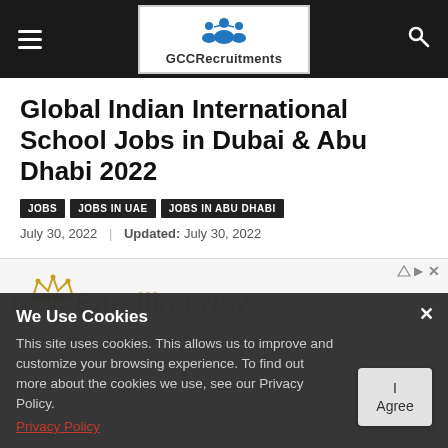GCCRecruitments
Global Indian International School Jobs in Dubai & Abu Dhabi 2022
JOBS
JOBS IN UAE
JOBS IN ABU DHABI
July 30, 2022 | Updated: July 30, 2022
[Figure (screenshot): Advertisement banner with crown icons and 'Now Enrolling Now' watermark text]
We Use Cookies
This site uses cookies. This allows us to improve and customize your browsing experience. To find out more about the cookies we use, see our Privacy Policy.
Privacy Policy
Now Enrolling 6 Weeks To 12 Years Old. Voted Northern Virginia Magazine Best Pre-school...